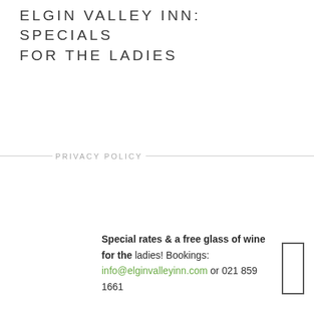ELGIN VALLEY INN: SPECIALS FOR THE LADIES
PRIVACY POLICY
Special rates & a free glass of wine for the ladies! Bookings: info@elginvalleyinn.com or 021 859 1661